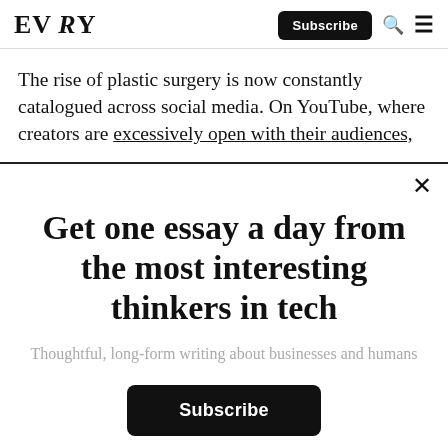EVERY | Subscribe
The rise of plastic surgery is now constantly catalogued across social media. On YouTube, where creators are excessively open with their audiences,
Get one essay a day from the most interesting thinkers in tech
Thoughtful, long-form writing about businesses and humans
Subscribe